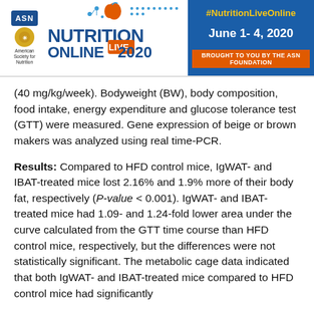[Figure (logo): Nutrition Live Online 2020 conference header banner with ASN logo on left, Nutrition Live Online 2020 branding in center, and blue right panel showing #NutritionLiveOnline, June 1-4 2020, and BROUGHT TO YOU BY THE ASN FOUNDATION]
(40 mg/kg/week). Bodyweight (BW), body composition, food intake, energy expenditure and glucose tolerance test (GTT) were measured. Gene expression of beige or brown makers was analyzed using real time-PCR.
Results: Compared to HFD control mice, IgWAT- and IBAT-treated mice lost 2.16% and 1.9% more of their body fat, respectively (P-value < 0.001). IgWAT- and IBAT-treated mice had 1.09- and 1.24-fold lower area under the curve calculated from the GTT time course than HFD control mice, respectively, but the differences were not statistically significant. The metabolic cage data indicated that both IgWAT- and IBAT-treated mice compared to HFD control mice had significantly